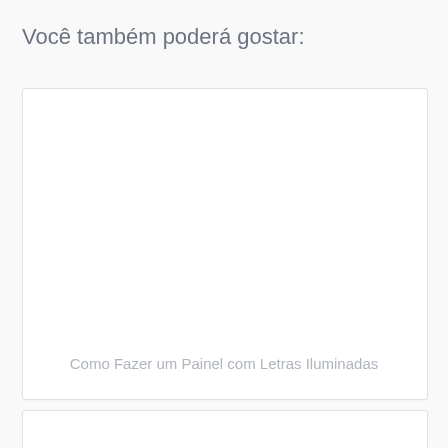Você também poderá gostar:
[Figure (other): White card placeholder image area, empty white rectangle with light border]
Como Fazer um Painel com Letras Iluminadas
[Figure (other): White card placeholder image area at bottom, partially visible]